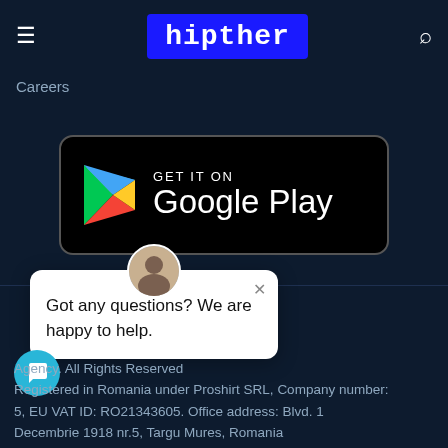hipther
Careers
[Figure (logo): Google Play store badge with colorful play icon and text GET IT ON Google Play on black rounded rectangle background]
[Figure (screenshot): Chat support popup with avatar photo, close X button, and text: Got any questions? We are happy to help.]
Got any questions? We are happy to help.
Agency. All Rights Reserved
Registered in Romania under Proshirt SRL, Company number:
5, EU VAT ID: RO21343605. Office address: Blvd. 1
Decembrie 1918 nr.5, Targu Mures, Romania